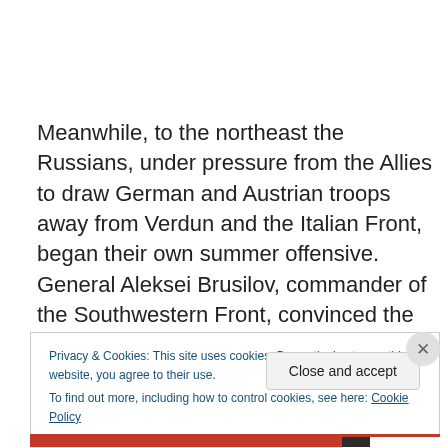Meanwhile, to the northeast the Russians, under pressure from the Allies to draw German and Austrian troops away from Verdun and the Italian Front, began their own summer offensive. General Aleksei Brusilov, commander of the Southwestern Front, convinced the Tsar to allow an attack into Galicia, which commenced on 4 June.  The
Privacy & Cookies: This site uses cookies. By continuing to use this website, you agree to their use.
To find out more, including how to control cookies, see here: Cookie Policy
Close and accept